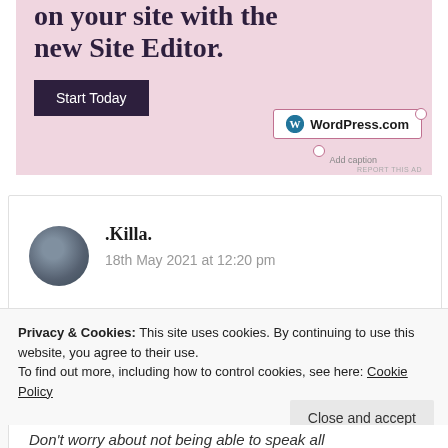[Figure (screenshot): WordPress.com advertisement banner with pink background showing 'on your site with the new Site Editor.' text, a 'Start Today' dark button, and a WordPress.com badge with resize handles and 'Add caption' label]
.Killa.
18th May 2021 at 12:20 pm
Privacy & Cookies: This site uses cookies. By continuing to use this website, you agree to their use.
To find out more, including how to control cookies, see here: Cookie Policy
Close and accept
Don't worry about not being able to speak all